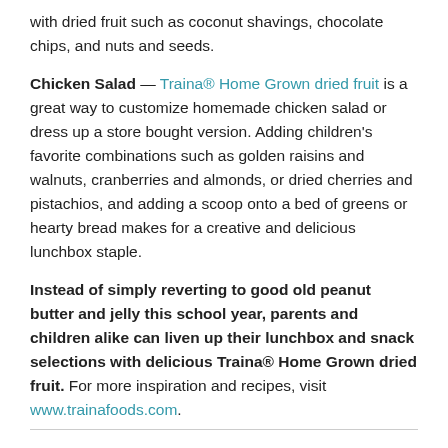with dried fruit such as coconut shavings, chocolate chips, and nuts and seeds.
Chicken Salad — Traina® Home Grown dried fruit is a great way to customize homemade chicken salad or dress up a store bought version. Adding children's favorite combinations such as golden raisins and walnuts, cranberries and almonds, or dried cherries and pistachios, and adding a scoop onto a bed of greens or hearty bread makes for a creative and delicious lunchbox staple.
Instead of simply reverting to good old peanut butter and jelly this school year, parents and children alike can liven up their lunchbox and snack selections with delicious Traina® Home Grown dried fruit. For more inspiration and recipes, visit www.trainafoods.com.